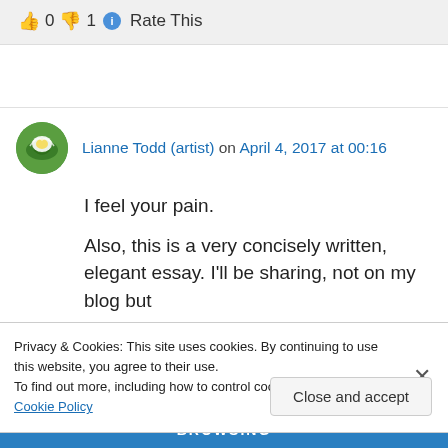0  1  Rate This
Lianne Todd (artist) on April 4, 2017 at 00:16
I feel your pain.
Also, this is a very concisely written, elegant essay. I'll be sharing, not on my blog but
Privacy & Cookies: This site uses cookies. By continuing to use this website, you agree to their use.
To find out more, including how to control cookies, see here: Cookie Policy
Close and accept